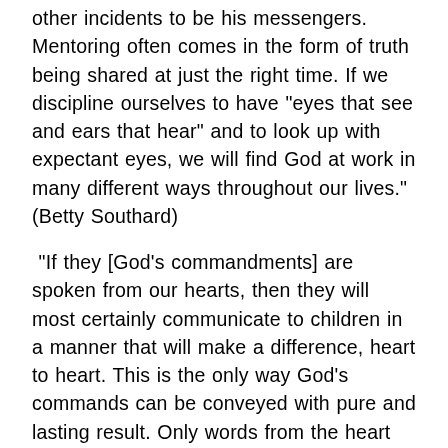other incidents to be his messengers. Mentoring often comes in the form of truth being shared at just the right time. If we discipline ourselves to have "eyes that see and ears that hear" and to look up with expectant eyes, we will find God at work in many different ways throughout our lives." (Betty Southard)
"If they [God's commandments] are spoken from our hearts, then they will most certainly communicate to children in a manner that will make a difference, heart to heart. This is the only way God's commands can be conveyed with pure and lasting result. Only words from the heart ever enter a heart to become established. If not from the heart, then our talk of God's commandments when